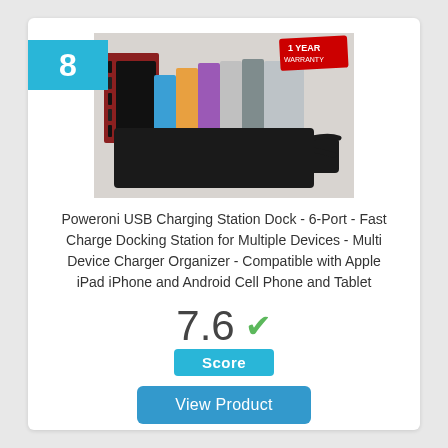[Figure (photo): Poweroni USB Charging Station Dock product photo showing multiple phones and tablets charging in a black multi-device docking station, with a small '1 Year Warranty' badge in the top right and a set of cables on the left side]
Poweroni USB Charging Station Dock - 6-Port - Fast Charge Docking Station for Multiple Devices - Multi Device Charger Organizer - Compatible with Apple iPad iPhone and Android Cell Phone and Tablet
7.6
Score
View Product
8